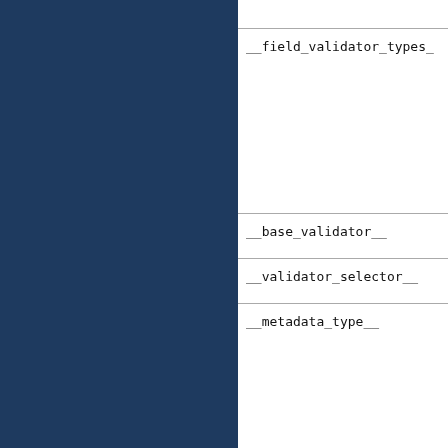[Figure (other): Dark navy blue sidebar panel occupying left ~53% of the page]
__field_validator_types_
__base_validator__
__validator_selector__
__metadata_type__